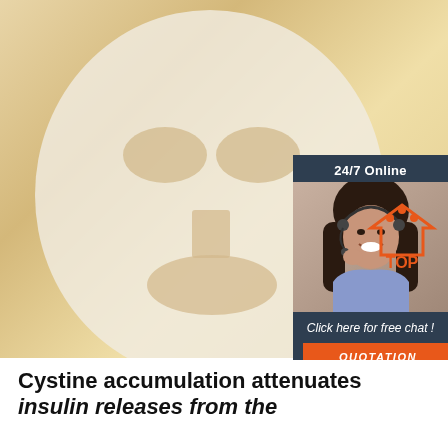[Figure (photo): A white sheet face mask laid flat on a light wood surface, with cutouts for eyes, nose, and mouth visible. Overlaid in the top-right is a '24/7 Online' customer service chat widget with a photo of a smiling woman wearing a headset, text 'Click here for free chat!' and an orange 'QUOTATION' button. A 'TOP' navigation icon appears at bottom-right of the photo area.]
Cystine accumulation attenuates insulin releases from the